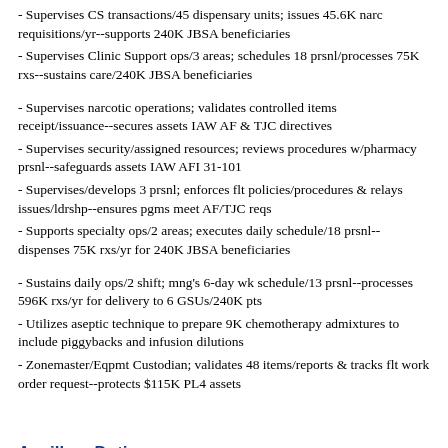- Supervises CS transactions/45 dispensary units; issues 45.6K narc requisitions/yr--supports 240K JBSA beneficiaries
- Supervises Clinic Support ops/3 areas; schedules 18 prsnl/processes 75K rxs--sustains care/240K JBSA beneficiaries
- Supervises narcotic operations; validates controlled items receipt/issuance--secures assets IAW AF & TJC directives
- Supervises security/assigned resources; reviews procedures w/pharmacy prsnl--safeguards assets IAW AFI 31-101
- Supervises/develops 3 prsnl; enforces flt policies/procedures & relays issues/ldrshp--ensures pgms meet AF/TJC reqs
- Supports specialty ops/2 areas; executes daily schedule/18 prsnl--dispenses 75K rxs/yr for 240K JBSA beneficiaries
- Sustains daily ops/2 shift; mng's 6-day wk schedule/13 prsnl--processes 596K rxs/yr for delivery to 6 GSUs/240K pts
- Utilizes aseptic technique to prepare 9K chemotherapy admixtures to include piggybacks and infusion dilutions
- Zonemaster/Eqpmt Custodian; validates 48 items/reports & tracks flt work order request--protects $115K PL4 assets
Ancillary Duties
- 59 MDTS PTL/104 prsnl; leads weekly work out sessions--promotes & enforces AF/unit fitness pgm directives/stds
- 59 MDTS UFPM; manages monthly PT sessions/101 prsnl--